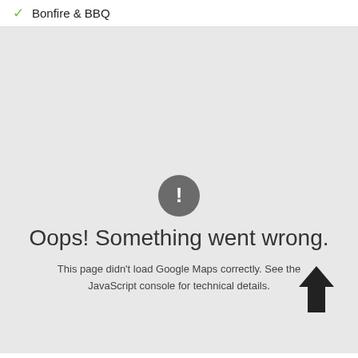✓ Bonfire & BBQ
[Figure (screenshot): Google Maps error state showing a grey map area with an exclamation mark circle icon, the text 'Oops! Something went wrong.' and 'This page didn't load Google Maps correctly. See the JavaScript console for technical details.' along with an up-arrow button.]